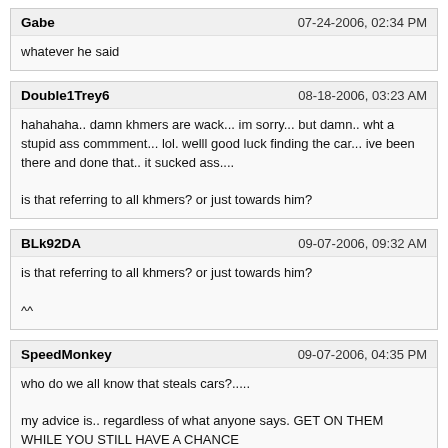Gabe | 07-24-2006, 02:34 PM
whatever he said
Double1Trey6 | 08-18-2006, 03:23 AM
hahahaha.. damn khmers are wack... im sorry... but damn.. wht a stupid ass commment... lol. welll good luck finding the car... ive been there and done that.. it sucked ass....

is that referring to all khmers? or just towards him?
BLk92DA | 09-07-2006, 09:32 AM
is that referring to all khmers? or just towards him?

^^
SpeedMonkey | 09-07-2006, 04:35 PM
who do we all know that steals cars?.....

my advice is.. regardless of what anyone says. GET ON THEM WHILE YOU STILL HAVE A CHANCE
InterludeX | 09-25-2006, 01:53 PM
damN!! nice ek , hate to see shit like that
The Stiffler | 10-03-2006, 12:48 PM